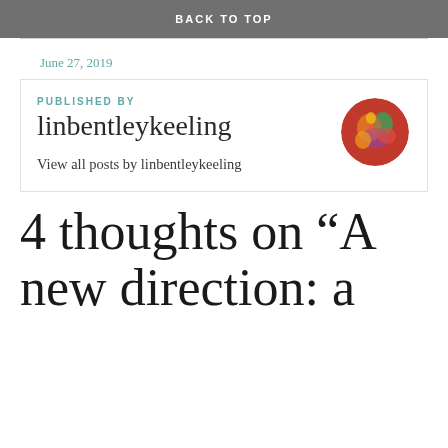BACK TO TOP
June 27, 2019
PUBLISHED BY
linbentleykeeling
View all posts by linbentleykeeling
4 thoughts on “A new direction: a